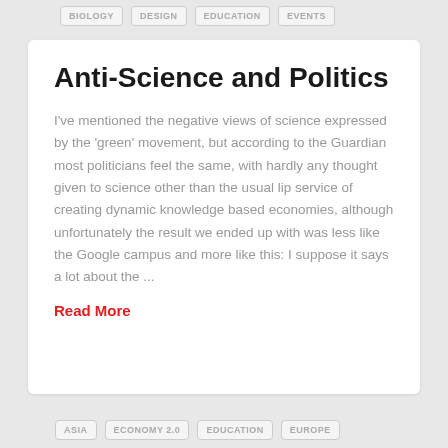BIOLOGY   DESIGN   EDUCATION   EVENTS
Anti-Science and Politics
I've mentioned the negative views of science expressed by the 'green' movement, but according to the Guardian most politicians feel the same, with hardly any thought given to science other than the usual lip service of creating dynamic knowledge based economies, although unfortunately the result we ended up with was less like the Google campus and more like this: I suppose it says a lot about the ...
Read More
ASIA   ECONOMY 2.0   EDUCATION   EUROPE